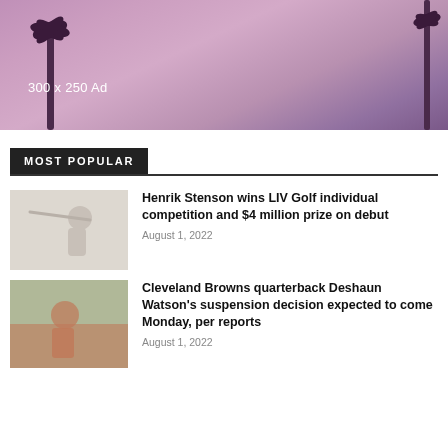[Figure (photo): Advertisement banner 300x250 Ad with palm trees silhouettes against a pink/purple sunset sky]
MOST POPULAR
[Figure (photo): Golfer swinging a golf club, faded/light image]
Henrik Stenson wins LIV Golf individual competition and $4 million prize on debut
August 1, 2022
[Figure (photo): Cleveland Browns football player, red uniform, faded image]
Cleveland Browns quarterback Deshaun Watson's suspension decision expected to come Monday, per reports
August 1, 2022